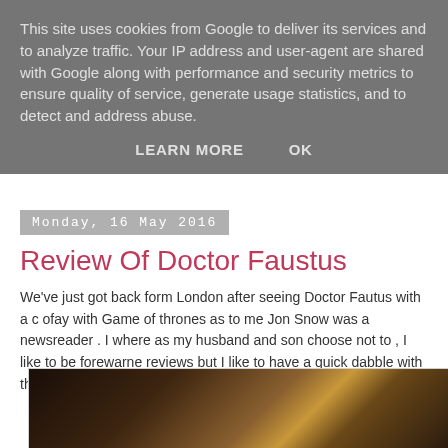This site uses cookies from Google to deliver its services and to analyze traffic. Your IP address and user-agent are shared with Google along with performance and security metrics to ensure quality of service, generate usage statistics, and to detect and address abuse.
LEARN MORE    OK
Monday, 16 May 2016
Review Of Doctor Faustus
We've just got back form London after seeing Doctor Fautus with a c ofay with Game of thrones as to me Jon Snow was a newsreader . I where as my husband and son choose not to , I like to be forewarne reviews but I like to have a quick dabble with them , it is really all a m Winter.
[Figure (photo): Dark brown wooden surface with diagonal light-colored stripe or edge detail]